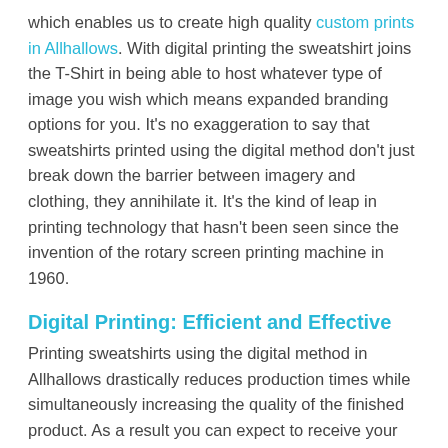which enables us to create high quality custom prints in Allhallows. With digital printing the sweatshirt joins the T-Shirt in being able to host whatever type of image you wish which means expanded branding options for you. It's no exaggeration to say that sweatshirts printed using the digital method don't just break down the barrier between imagery and clothing, they annihilate it. It's the kind of leap in printing technology that hasn't been seen since the invention of the rotary screen printing machine in 1960.
Digital Printing: Efficient and Effective
Printing sweatshirts using the digital method in Allhallows drastically reduces production times while simultaneously increasing the quality of the finished product. As a result you can expect to receive your digitally printed sweatshirts from The T-Shirt Kings much faster than you would have if they were screen printed. Instead of waiting weeks for your order to arrive you may only have to wait a few days. It's the kind of technological leap that doesn't occur very often in the garment industry and everyone benefits: from the customer that receives a higher quality product in a shorter amount of time to those of us at The T-Shirt Kings who can